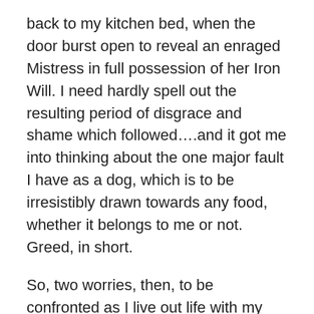back to my kitchen bed, when the door burst open to reveal an enraged Mistress in full possession of her Iron Will. I need hardly spell out the resulting period of disgrace and shame which followed….and it got me into thinking about the one major fault I have as a dog, which is to be irresistibly drawn towards any food, whether it belongs to me or not. Greed, in short.
So, two worries, then, to be confronted as I live out life with my human companions – loss of beauty and loss of good character. Can anything be done about either of them? Are confronting honestly one's physical ugliness and one's ugliness of character an inevitable part of growing older and wiser?
I have no answer to these huge questions. Just a nagging fear that, one day, lack of dealing with these two issues